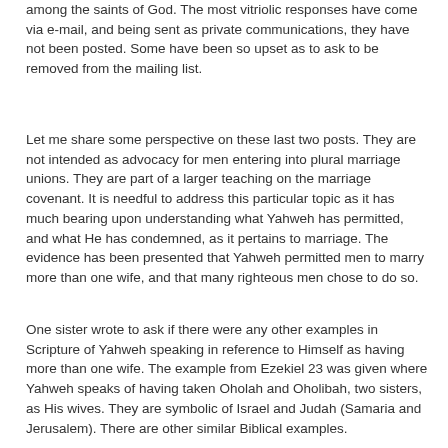among the saints of God. The most vitriolic responses have come via e-mail, and being sent as private communications, they have not been posted. Some have been so upset as to ask to be removed from the mailing list.
Let me share some perspective on these last two posts. They are not intended as advocacy for men entering into plural marriage unions. They are part of a larger teaching on the marriage covenant. It is needful to address this particular topic as it has much bearing upon understanding what Yahweh has permitted, and what He has condemned, as it pertains to marriage. The evidence has been presented that Yahweh permitted men to marry more than one wife, and that many righteous men chose to do so.
One sister wrote to ask if there were any other examples in Scripture of Yahweh speaking in reference to Himself as having more than one wife. The example from Ezekiel 23 was given where Yahweh speaks of having taken Oholah and Oholibah, two sisters, as His wives. They are symbolic of Israel and Judah (Samaria and Jerusalem). There are other similar Biblical examples.